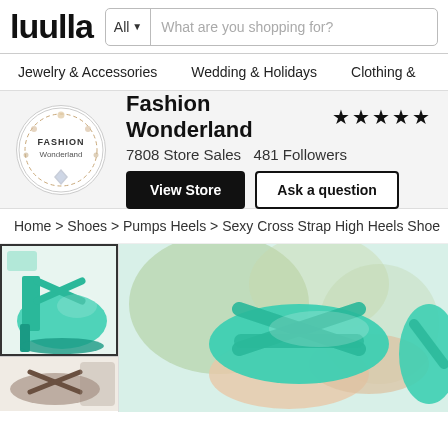[Figure (logo): Luulla logo text in bold black]
What are you shopping for?
Jewelry & Accessories   Wedding & Holidays   Clothing &
[Figure (logo): Fashion Wonderland store circular logo with floral and jewelry design]
Fashion Wonderland ★★★★★
7808 Store Sales   481 Followers
View Store   Ask a question
Home > Shoes > Pumps Heels > Sexy Cross Strap High Heels Shoe
[Figure (photo): Thumbnail of teal/turquoise cross strap high heel shoes]
[Figure (photo): Small thumbnail of dark strappy sandals]
[Figure (photo): Large main product photo of teal cross strap high heel shoes on a person's feet]